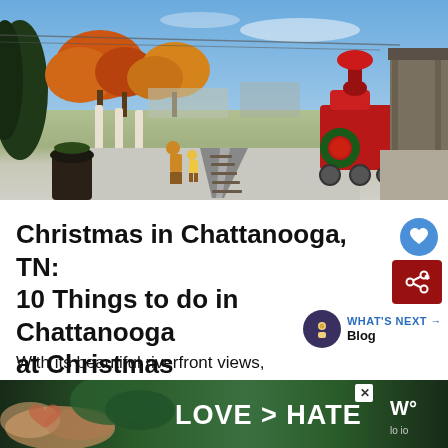[Figure (photo): Outdoor photo of a train station area in Chattanooga, TN during autumn. Features autumn-colored trees, white columns, railroad tracks converging in the center, a red decorated locomotive with a Christmas wreath on the right side, and a covered platform/shed on the far right. Two people (an adult and child) are visible near the tracks.]
Christmas in Chattanooga, TN: 10 Things to do in Chattanooga at Christmas
With its beautiful riverfront views,
[Figure (other): Advertisement banner showing hands making a heart shape against a green background with text 'LOVE > HATE' in white bold letters. A close X button is visible in upper right of the ad.]